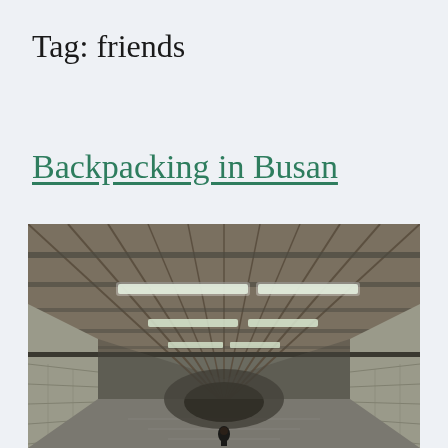Tag: friends
Backpacking in Busan
[Figure (photo): Photo of a corridor or underground passageway viewed from below, showing a ceiling with wooden slat panels, metal beams, fluorescent lights, and concrete block walls converging toward a vanishing point. A person is visible in the distance at the bottom of the frame.]